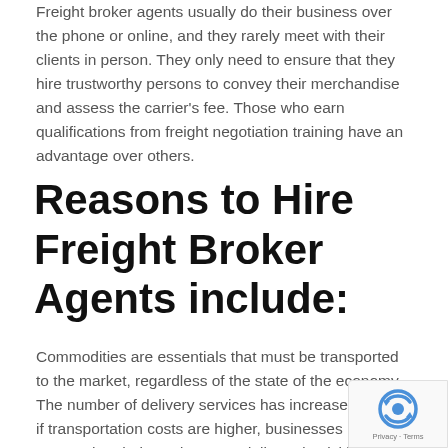Freight broker agents usually do their business over the phone or online, and they rarely meet with their clients in person. They only need to ensure that they hire trustworthy persons to convey their merchandise and assess the carrier's fee. Those who earn qualifications from freight negotiation training have an advantage over others.
Reasons to Hire Freight Broker Agents include:
Commodities are essentials that must be transported to the market, regardless of the state of the economy. The number of delivery services has increased. Even if transportation costs are higher, businesses must ensure that their products are delivered quickly to numerous locations. Several motor carriers are eager to deliver your